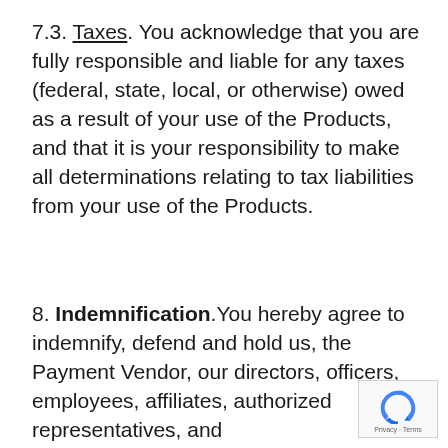7.3. Taxes. You acknowledge that you are fully responsible and liable for any taxes (federal, state, local, or otherwise) owed as a result of your use of the Products, and that it is your responsibility to make all determinations relating to tax liabilities from your use of the Products.
8. Indemnification. You hereby agree to indemnify, defend and hold us, the Payment Vendor, our directors, officers, employees, affiliates, authorized representatives, and
[Figure (logo): reCAPTCHA badge with Privacy and Terms text]